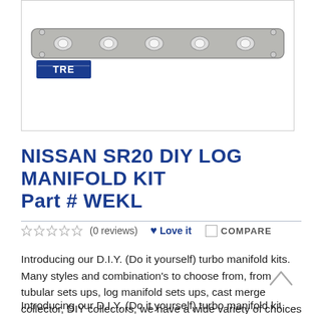[Figure (photo): Product photo of a Nissan SR20 DIY log manifold kit flange, metallic silver/gray color, elongated shape with holes. TRE logo (blue background with white letters) visible in lower left corner of image box.]
NISSAN SR20 DIY LOG MANIFOLD KIT Part # WEKL
★★★★★ (0 reviews) ♥ Love it  ☐ COMPARE
Introducing our D.I.Y. (Do it yourself) turbo manifold kits. Many styles and combination's to choose from, from tubular sets ups, log manifold sets ups, cast merge collector, DIY collectors, we have a wide variety of choices to accomplish any custom manifold project.
Introducing our D.I.Y. (Do it yourself) turbo manifold kits